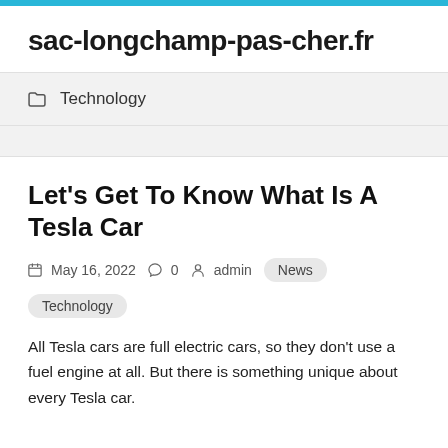sac-longchamp-pas-cher.fr
Technology
Let's Get To Know What Is A Tesla Car
May 16, 2022   0   admin   News   Technology
All Tesla cars are full electric cars, so they don't use a fuel engine at all. But there is something unique about every Tesla car.